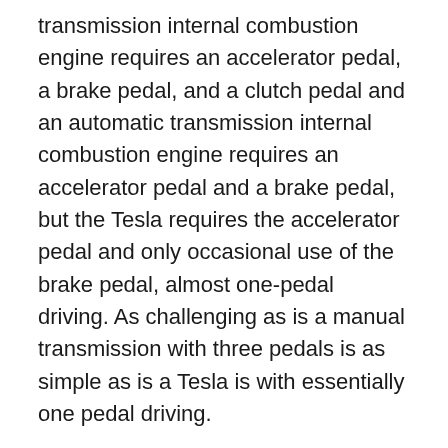transmission internal combustion engine requires an accelerator pedal, a brake pedal, and a clutch pedal and an automatic transmission internal combustion engine requires an accelerator pedal and a brake pedal, but the Tesla requires the accelerator pedal and only occasional use of the brake pedal, almost one-pedal driving. As challenging as is a manual transmission with three pedals is as simple as is a Tesla is with essentially one pedal driving.
6. Touchscreen Controls
The entire vehicle is controlled from a single center 17-inch touchscreen that looks like an oversized iPad. Operationally, it is simple and highly intuitive, similar to an iPhone. The touchscreen runs the car, functions as a rear camera, provides a web browser, navigation, phone calls